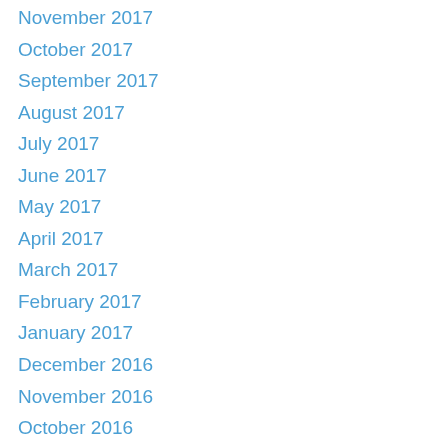November 2017
October 2017
September 2017
August 2017
July 2017
June 2017
May 2017
April 2017
March 2017
February 2017
January 2017
December 2016
November 2016
October 2016
September 2016
August 2016
July 2016
June 2016
May 2016
March 2016